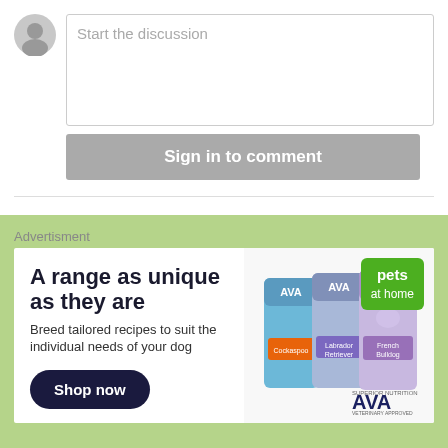Start the discussion
Sign in to comment
Advertisment
[Figure (illustration): Advertisement banner for Pets at Home AVA brand dog food. Shows three dog food bags with AVA branding, green 'pets at home' badge top right, dark navy 'Shop now' button.]
[Figure (photo): Close-up photo of a brown terrier puppy's face with large eyes, peeking up from the bottom of the page.]